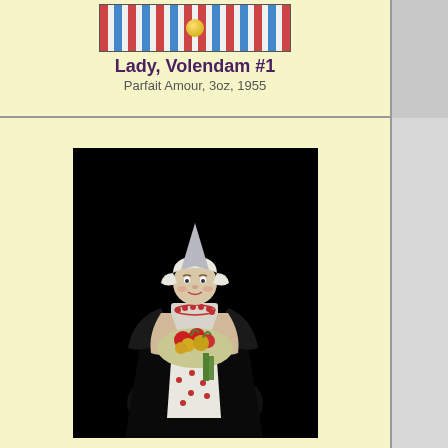[Figure (photo): Top portion of a ceramic figurine showing striped pattern with a gold ball on top, black background]
Lady, Volendam #1
Parfait Amour, 3oz, 1955
[Figure (photo): Full ceramic figurine of a Dutch lady from Volendam wearing traditional costume: white pointed cap, black dress with white apron decorated with red dots, holding a bowl of colorful fruits/vegetables, black background]